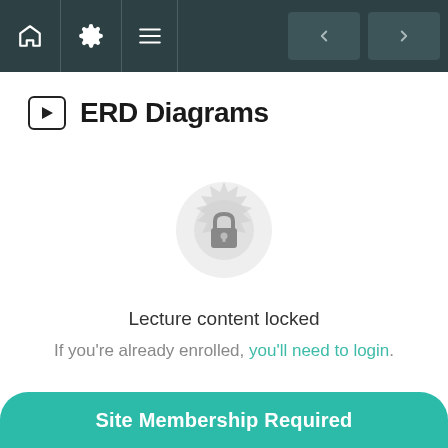Navigation bar with home, settings, menu icons and back/forward buttons
ERD Diagrams
[Figure (illustration): Locked content icon: a decorative circular badge with a padlock in the center, rendered in light gray]
Lecture content locked
If you're already enrolled, you'll need to login.
Site Membership Required